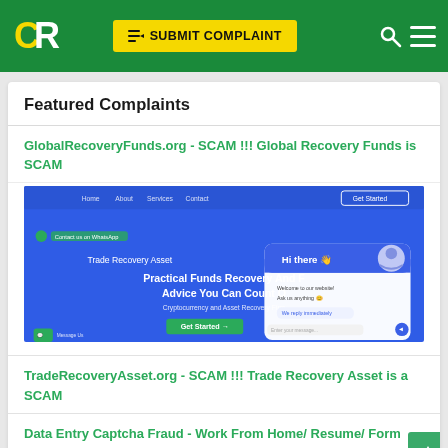CR — SUBMIT COMPLAINT
Featured Complaints
GlobalRecoveryFunds.org - SCAM !!! Global Recovery Funds is SCAM
[Figure (screenshot): Screenshot of TradeRecoveryAsset.org website showing 'Trade Recovery Asset' heading and 'Practical Funds Recovery And Advice You Can Count On' with a live chat popup saying 'Hi there']
TradeRecoveryAsset.org - SCAM !!! Trade Recovery Asset is a SCAM
Data Entry Captcha Fraud - Work From Home/ Resume/ Form Filling & Captcha Jobs